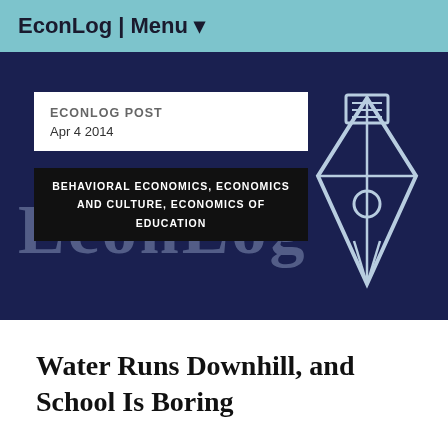EconLog | Menu ▾
[Figure (screenshot): EconLog website hero banner with dark navy background, large semi-transparent EconLog watermark text, a pen/nib icon in light blue outline on the right, a white box showing 'ECONLOG POST Apr 4 2014', and a black category bar reading 'BEHAVIORAL ECONOMICS, ECONOMICS AND CULTURE, ECONOMICS OF EDUCATION']
Water Runs Downhill, and School Is Boring